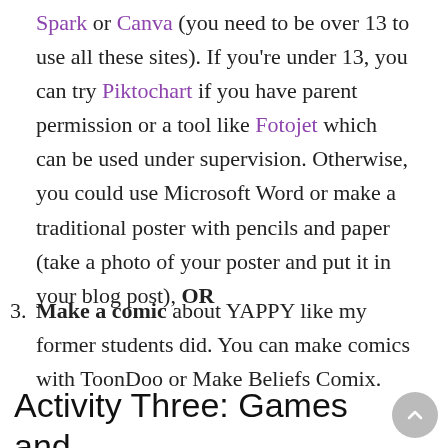Spark or Canva (you need to be over 13 to use all these sites). If you're under 13, you can try Piktochart if you have parent permission or a tool like Fotojet which can be used under supervision. Otherwise, you could use Microsoft Word or make a traditional poster with pencils and paper (take a photo of your poster and put it in your blog post), OR
Make a comic about YAPPY like my former students did. You can make comics with ToonDoo or Make Beliefs Comix.
Activity Three: Games and